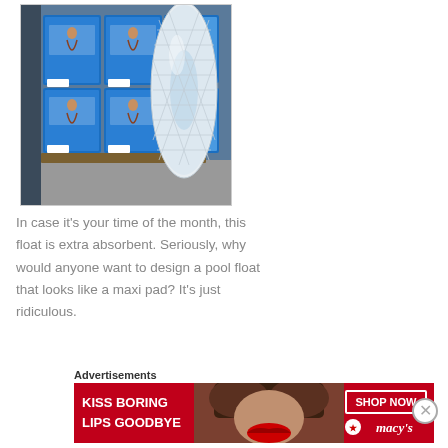[Figure (photo): Photo of a white quilted pool float shaped like a maxi pad, standing upright in front of blue packaged pool float boxes in a warehouse/retail store. The boxes show a woman lying on a pool float.]
In case it's your time of the month, this float is extra absorbent. Seriously, why would anyone want to design a pool float that looks like a maxi pad? It's just ridiculous.
Advertisements
[Figure (photo): Macy's advertisement banner. Red background with white text reading 'KISS BORING LIPS GOODBYE' on the left, a photo of a woman's face with red lips in the center, and a white-bordered 'SHOP NOW' button with a Macy's star logo on the right.]